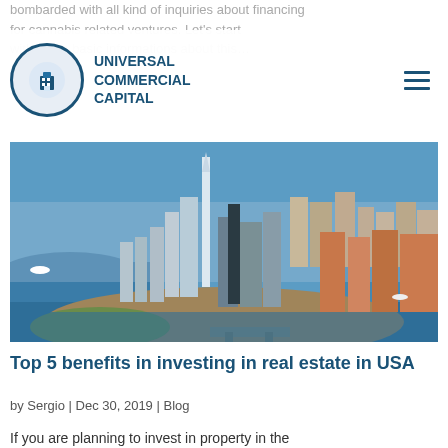bombarded with all kind of inquiries about financing for cannabis related ventures. Let's start with some basic informations about this…
UNIVERSAL COMMERCIAL CAPITAL
[Figure (photo): Aerial view of Manhattan, New York City skyline surrounded by water, showing skyscrapers and urban density]
Top 5 benefits in investing in real estate in USA
by Sergio | Dec 30, 2019 | Blog
If you are planning to invest in property in the